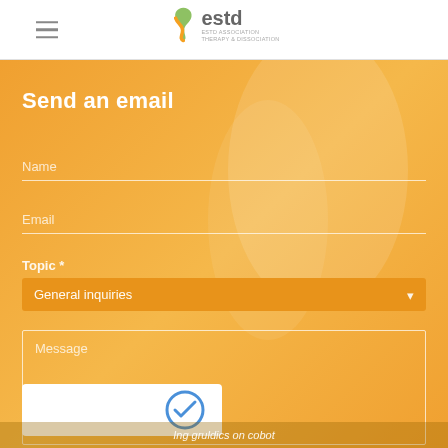[Figure (logo): ESTD logo with stylized green/orange 'S' icon and 'estd' text with subtitle]
Send an email
Name (input field placeholder)
Email (input field placeholder)
Topic *
General inquiries (dropdown)
Message (textarea placeholder)
[Figure (other): reCAPTCHA widget]
Ing gruldics on cobot